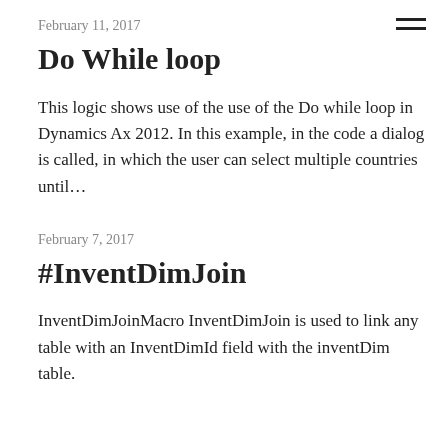February 11, 2017
Do While loop
This logic shows use of the use of the Do while loop in Dynamics Ax 2012. In this example, in the code a dialog is called, in which the user can select multiple countries until…
February 7, 2017
#InventDimJoin
InventDimJoinMacro InventDimJoin is used to link any table with an InventDimId field with the inventDim table.